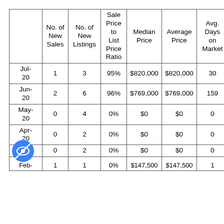|  | No. of New Sales | No. of New Listings | Sale Price to List Price Ratio | Median Price | Average Price | Avg. Days on Market |
| --- | --- | --- | --- | --- | --- | --- |
| Jul-20 | 1 | 3 | 95% | $820,000 | $820,000 | 30 |
| Jun-20 | 2 | 6 | 96% | $769,000 | $769,000 | 159 |
| May-20 | 0 | 4 | 0% | $0 | $0 | 0 |
| Apr-20 | 0 | 2 | 0% | $0 | $0 | 0 |
| [hidden] | 0 | 2 | 0% | $0 | $0 | 0 |
| Feb-... | 1 | 1 | 0% | $147,500 | $147,500 | 1+ |